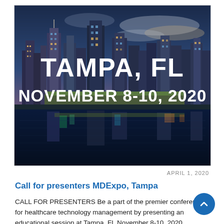[Figure (photo): City skyline of Tampa, FL at night/dusk reflected in water, with large white bold text overlay reading 'TAMPA, FL' and 'NOVEMBER 8-10, 2020']
APRIL 1, 2020
Call for presenters MDExpo, Tampa
CALL FOR PRESENTERS Be a part of the premier conference for healthcare technology management by presenting an educational session at Tampa, FL November 8-10, 2020.